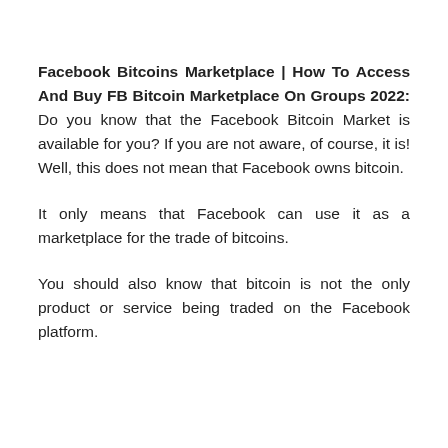Facebook Bitcoins Marketplace | How To Access And Buy FB Bitcoin Marketplace On Groups 2022: Do you know that the Facebook Bitcoin Market is available for you? If you are not aware, of course, it is! Well, this does not mean that Facebook owns bitcoin.
It only means that Facebook can use it as a marketplace for the trade of bitcoins.
You should also know that bitcoin is not the only product or service being traded on the Facebook platform.